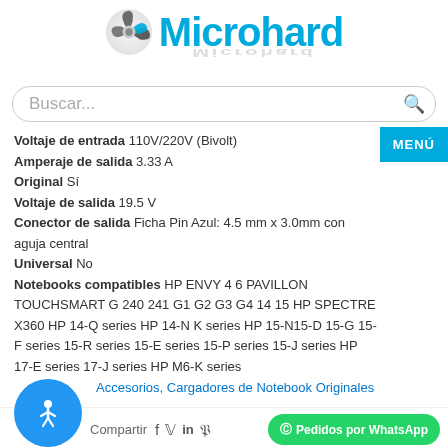[Figure (logo): Microhard logo with spinning fan/camera icon in silver-blue and the text 'Microhard' in cyan blue, with a reflection below]
Buscar...
Voltaje de entrada 110V/220V (Bivolt)
Amperaje de salida 3.33 A
Original Sí
Voltaje de salida 19.5 V
Conector de salida Ficha Pin Azul: 4.5 mm x 3.0mm con aguja central
Universal No
Notebooks compatibles HP ENVY 4 6 PAVILLON TOUCHSMART G 240 241 G1 G2 G3 G4 14 15 HP SPECTRE X360 HP 14-Q series HP 14-N K series HP 15-N15-D 15-G 15-F series 15-R series 15-E series 15-P series 15-J series HP 17-E series 17-J series HP M6-K series
Accesorios, Cargadores de Notebook Originales
Compartir
Pedidos por WhatsApp